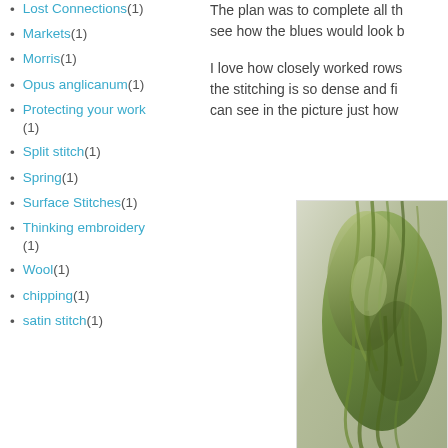Lost Connections (1)
Markets (1)
Morris (1)
Opus anglicanum (1)
Protecting your work (1)
Split stitch (1)
Spring (1)
Surface Stitches (1)
Thinking embroidery (1)
Wool (1)
chipping (1)
satin stitch (1)
The plan was to complete all th... see how the blues would look b...
I love how closely worked rows... the stitching is so dense and fi... can see in the picture just how...
[Figure (photo): Close-up photograph of green embroidery thread/wool on light fabric, showing dense stitching texture]